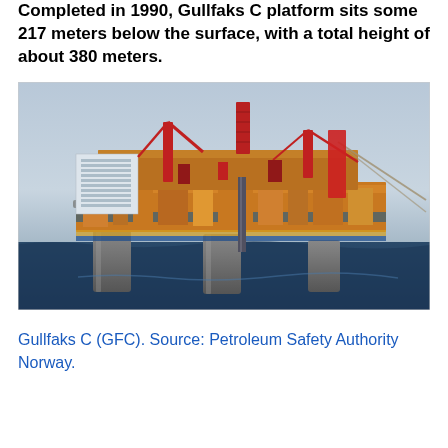Completed in 1990, Gullfaks C platform sits some 217 meters below the surface, with a total height of about 380 meters.
[Figure (photo): Aerial photograph of the Gullfaks C offshore oil platform in the North Sea. The platform shows multiple levels of industrial equipment, red cranes, cylindrical concrete support legs, and a large white accommodation block. The platform is surrounded by dark blue sea water.]
Gullfaks C (GFC). Source: Petroleum Safety Authority Norway.